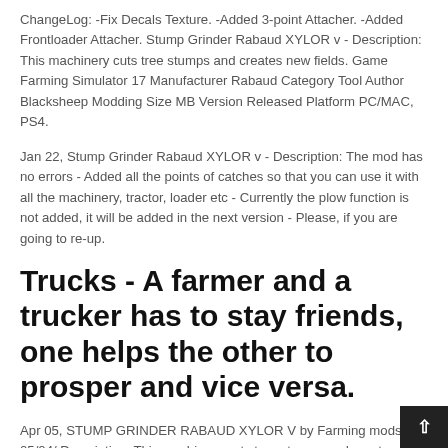ChangeLog: -Fix Decals Texture. -Added 3-point Attacher. -Added Frontloader Attacher. Stump Grinder Rabaud XYLOR v - Description: This machinery cuts tree stumps and creates new fields. Game Farming Simulator 17 Manufacturer Rabaud Category Tool Author Blacksheep Modding Size MB Version Released Platform PC/MAC, PS4.
Jan 22, Stump Grinder Rabaud XYLOR v - Description: The mod has no errors - Added all the points of catches so that you can use it with all the machinery, tractor, loader etc - Currently the plow function is not added, it will be added in the next version - Please, if you are going to re-up.
Trucks - A farmer and a trucker has to stay friends, one helps the other to prosper and vice versa.
Apr 05, STUMP GRINDER RABAUD XYLOR V by Farming mods 05/04/ Description: This machinery cuts tree stumps and creates new fields. ChangeLog: – 5/5(1). Jan 22, FS 19 Stump Grind